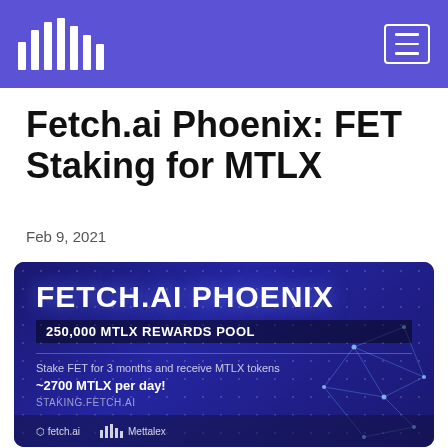Fetch.ai logo and navigation menu
Fetch.ai Phoenix: FET Staking for MTLX
Feb 9, 2021
[Figure (infographic): FETCH.AI PHOENIX promotional banner with '250,000 MTLX REWARDS POOL'. Text: 'Stake FET for 3 months and receive MTLX tokens', '~2700 MTLX per day!', 'STAKING.FETCH.AI'. Logos for fetch.ai and Mettalex at the bottom.]